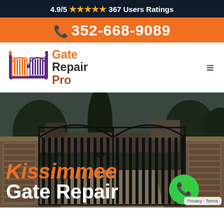4.9/5 ★★★★★ 367 Users Ratings
352-668-9089
[Figure (logo): Gate Repair Pro logo with ornamental gate icon]
[Figure (photo): Hero image of an ornamental iron double gate at a residential property with stone pillars, overlaid with text 'Kissimmee Gate Repair' and a green phone icon circle]
Kissimmee Gate Repair
Privacy · Terms